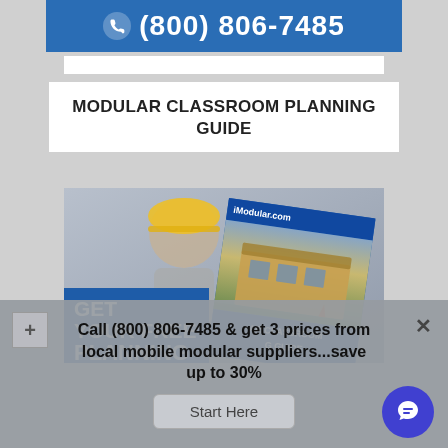(800) 806-7485
MODULAR CLASSROOM PLANNING GUIDE
[Figure (photo): Photo of a construction worker in a yellow hard hat smiling, with a modular classroom planning guide booklet overlaid showing a modular building exterior. The booklet has blue branding and text reading 'GET YOUR FREE PLANNING' and 'AR CLASSROOM G GUIDE'. Background shows a construction site setting.]
Call (800) 806-7485 & get 3 prices from local mobile modular suppliers...save up to 30%
Start Here